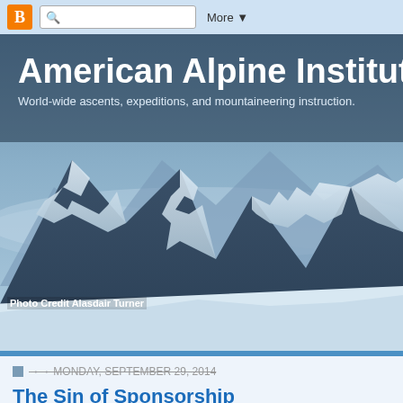[Figure (screenshot): Blogger navigation bar with orange B icon, search box, and More dropdown button on light blue background]
American Alpine Institute
World-wide ascents, expeditions, and mountaineering instruction.
[Figure (photo): Snow-covered mountain peaks with dramatic rocky spires against a cloudy sky, black and white / blue-toned photography]
Photo Credit Alasdair Turner
MONDAY, SEPTEMBER 29, 2014
The Sin of Sponsorship
Elite climbers and well-known guides have been sponsored by gear manufacturers for years. The idea behind sponsorship is that a gear manufacturer will choose an individual, who is going to be able